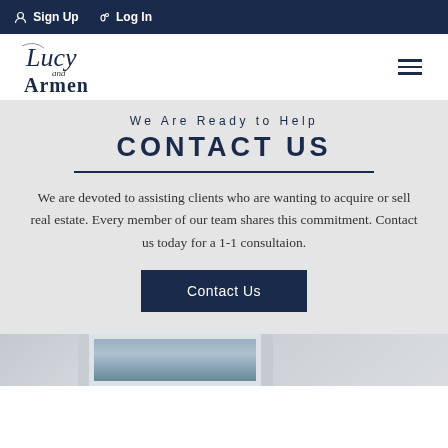Sign Up  Log In
[Figure (logo): Lucy and Armen real estate logo in elegant script/serif font]
We Are Ready to Help
CONTACT US
We are devoted to assisting clients who are wanting to acquire or sell real estate. Every member of our team shares this commitment. Contact us today for a 1-1 consultaion.
Contact Us
[Figure (photo): Partial view of real estate property photos at bottom of page]